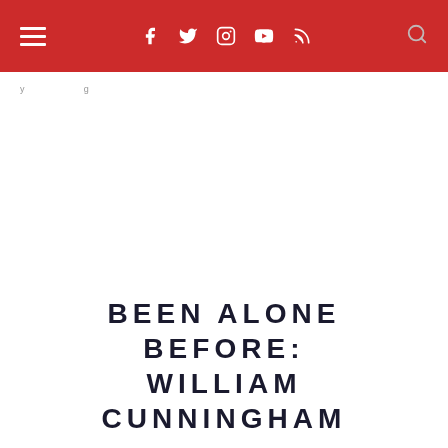Navigation bar with menu icon, social icons (Facebook, Twitter, Instagram, YouTube, RSS), and search icon
y ... g
BEEN ALONE BEFORE: WILLIAM CUNNINGHAM